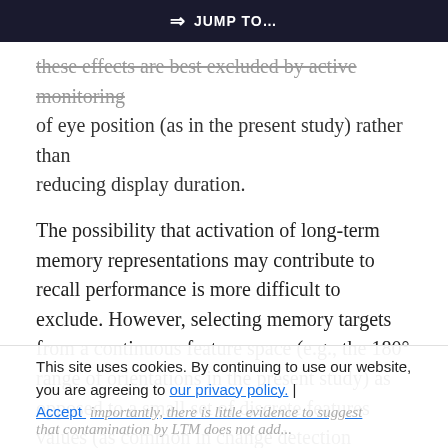⇒ JUMP TO…
these effects are best excluded by active monitoring of eye position (as in the present study) rather than reducing display duration.
The possibility that activation of long-term memory representations may contribute to recall performance is more difficult to exclude. However, selecting memory targets from a continuous feature space (e.g., the 180° range of orientations in the present study) as opposed to a small set of discrete features values (as common in change detection tasks, e.g., Luck & Vogel, 1997) will tend to limit the usefulness of LTM representations as aides to recall. Also importantly, there is little evidence to suggest that contamination by LTM does not add...
This site uses cookies. By continuing to use our website, you are agreeing to our privacy policy. Accept